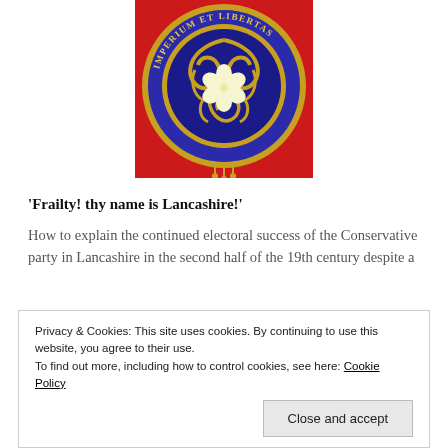[Figure (photo): A decorative circular badge/brooch with blue enamel border, gold text reading 'IMPERIUM ET LIBERTAS', featuring a white flower in the center against a red background]
'Frailty! thy name is Lancashire!'
How to explain the continued electoral success of the Conservative party in Lancashire in the second half of the 19th century despite a
Privacy & Cookies: This site uses cookies. By continuing to use this website, you agree to their use.
To find out more, including how to control cookies, see here: Cookie Policy
Close and accept
and the rest of the country the party's mobilising